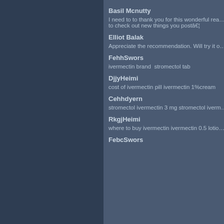Basil Mcnutty
I need to to thank you for this wonderful read… to check out new things you postâ€¦
Elliot Balak
Appreciate the recommendation. Will try it o…
FehhSwors
ivermectin brand stromectol tab
DjjyHeimi
cost of ivermectin pill ivermectin 1%cream
Cehhdyern
stromectol ivermectin 3 mg stromectol iverm…
RkgjHeimi
where to buy ivermectin ivermectin 0.5 lotio…
FebcSwors